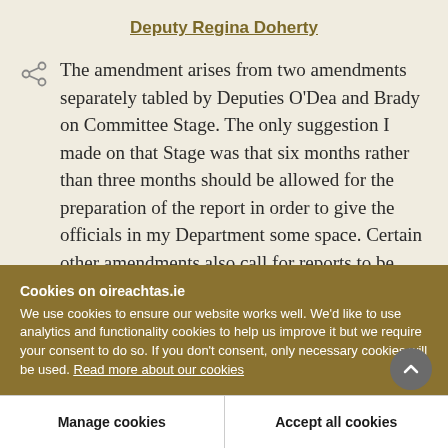Deputy Regina Doherty
The amendment arises from two amendments separately tabled by Deputies O'Dea and Brady on Committee Stage. The only suggestion I made on that Stage was that six months rather than three months should be allowed for the preparation of the report in order to give the officials in my Department some space. Certain other amendments also call for reports to be compiled. I am grateful that the
Cookies on oireachtas.ie
We use cookies to ensure our website works well. We'd like to use analytics and functionality cookies to help us improve it but we require your consent to do so. If you don't consent, only necessary cookies will be used. Read more about our cookies
Manage cookies
Accept all cookies